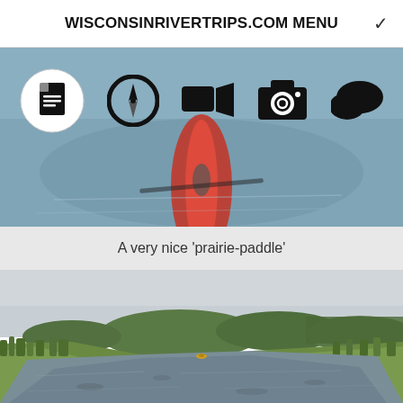WISCONSINRIVERTRIPS.COM MENU
[Figure (screenshot): Navigation icon bar over kayak hero image showing document, compass/navigation, video camera, photo camera, and chat bubble icons]
A very nice 'prairie-paddle'
[Figure (photo): River paddling scene: a wide prairie river with green grassy banks, scattered shrubs, rolling wooded hills in the background, overcast sky, and a kayaker visible in the mid-distance on the water]